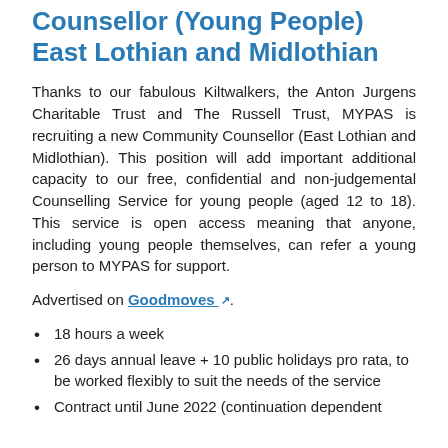Counsellor (Young People) East Lothian and Midlothian
Thanks to our fabulous Kiltwalkers, the Anton Jurgens Charitable Trust and The Russell Trust, MYPAS is recruiting a new Community Counsellor (East Lothian and Midlothian). This position will add important additional capacity to our free, confidential and non-judgemental Counselling Service for young people (aged 12 to 18). This service is open access meaning that anyone, including young people themselves, can refer a young person to MYPAS for support.
Advertised on Goodmoves.
18 hours a week
26 days annual leave + 10 public holidays pro rata, to be worked flexibly to suit the needs of the service
Contract until June 2022 (continuation dependent